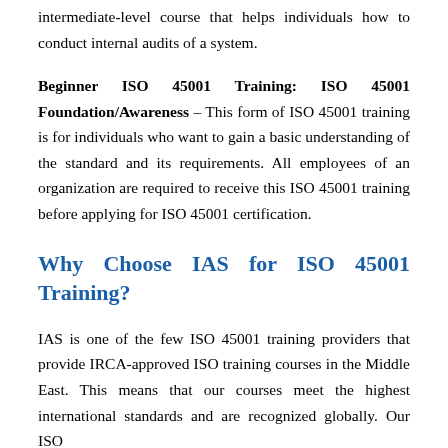intermediate-level course that helps individuals how to conduct internal audits of a system.
Beginner ISO 45001 Training: ISO 45001 Foundation/Awareness – This form of ISO 45001 training is for individuals who want to gain a basic understanding of the standard and its requirements. All employees of an organization are required to receive this ISO 45001 training before applying for ISO 45001 certification.
Why Choose IAS for ISO 45001 Training?
IAS is one of the few ISO 45001 training providers that provide IRCA-approved ISO training courses in the Middle East. This means that our courses meet the highest international standards and are recognized globally. Our ISO